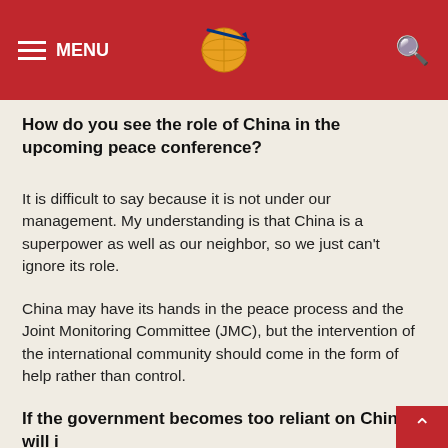MENU [logo] [search]
How do you see the role of China in the upcoming peace conference?
It is difficult to say because it is not under our management. My understanding is that China is a superpower as well as our neighbor, so we just can't ignore its role.
China may have its hands in the peace process and the Joint Monitoring Committee (JMC), but the intervention of the international community should come in the form of help rather than control.
If the government becomes too reliant on China, will i